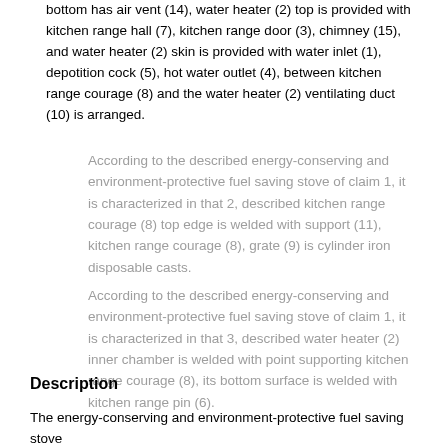bottom has air vent (14), water heater (2) top is provided with kitchen range hall (7), kitchen range door (3), chimney (15), and water heater (2) skin is provided with water inlet (1), depotition cock (5), hot water outlet (4), between kitchen range courage (8) and the water heater (2) ventilating duct (10) is arranged.
According to the described energy-conserving and environment-protective fuel saving stove of claim 1, it is characterized in that 2, described kitchen range courage (8) top edge is welded with support (11), kitchen range courage (8), grate (9) is cylinder iron disposable casts.
According to the described energy-conserving and environment-protective fuel saving stove of claim 1, it is characterized in that 3, described water heater (2) inner chamber is welded with point supporting kitchen range courage (8), its bottom surface is welded with kitchen range pin (6).
Description
The energy-conserving and environment-protective fuel saving stove